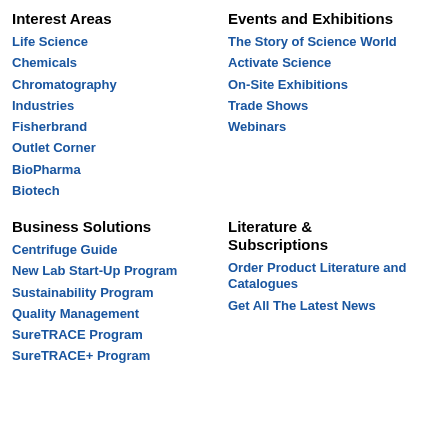Interest Areas
Life Science
Chemicals
Chromatography
Industries
Fisherbrand
Outlet Corner
BioPharma
Biotech
Events and Exhibitions
The Story of Science World
Activate Science
On-Site Exhibitions
Trade Shows
Webinars
Business Solutions
Centrifuge Guide
New Lab Start-Up Program
Sustainability Program
Quality Management
SureTRACE Program
SureTRACE+ Program
Literature & Subscriptions
Order Product Literature and Catalogues
Get All The Latest News